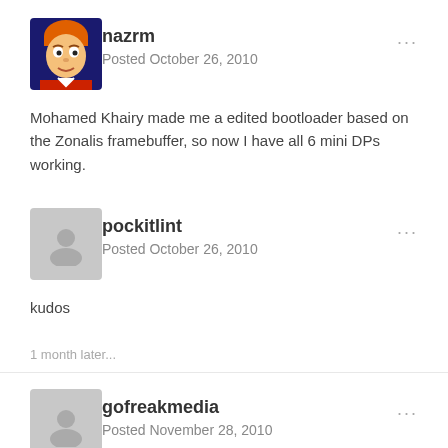[Figure (photo): Avatar image of user nazrm showing Fry character from Futurama]
nazrm
Posted October 26, 2010
Mohamed Khairy made me a edited bootloader based on the Zonalis framebuffer, so now I have all 6 mini DPs working.
[Figure (photo): Generic grey placeholder avatar for user pockitlint]
pockitlint
Posted October 26, 2010
kudos
1 month later...
[Figure (photo): Generic grey placeholder avatar for user gofreakmedia]
gofreakmedia
Posted November 28, 2010